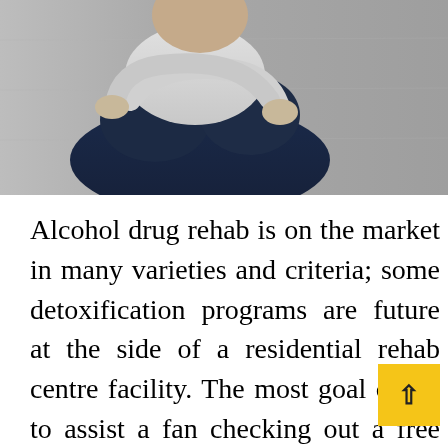[Figure (photo): A person sitting hunched over with arms crossed over their knees, photographed against a concrete wall background. The person is wearing dark jeans and a light-colored top. Only the lower body and arms are visible.]
Alcohol drug rehab is on the market in many varieties and criteria; some detoxification programs are future at the side of a residential rehab centre facility. The most goal of it's to assist a fan checking out a free life that has no result of addiction. Addicts learn that however, he can be sober and why. Rehab centre has existed from previous few centuries, but at that point, they weren't referred to as drug rehab centre or alcohol drug rehab centre or alcohol